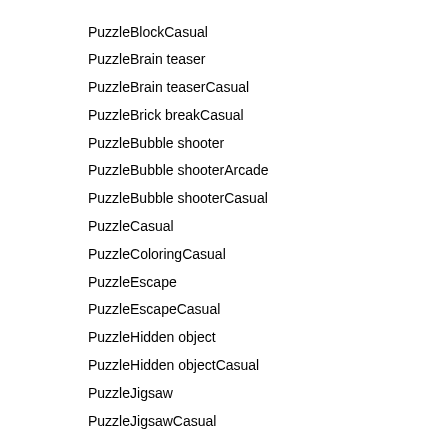PuzzleBlockCasual
PuzzleBrain teaser
PuzzleBrain teaserCasual
PuzzleBrick breakCasual
PuzzleBubble shooter
PuzzleBubble shooterArcade
PuzzleBubble shooterCasual
PuzzleCasual
PuzzleColoringCasual
PuzzleEscape
PuzzleEscapeCasual
PuzzleHidden object
PuzzleHidden objectCasual
PuzzleJigsaw
PuzzleJigsawCasual